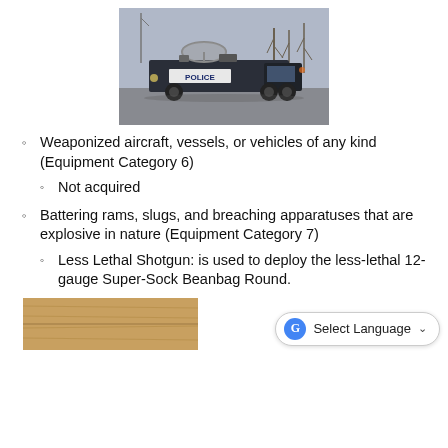[Figure (photo): Police command/communications truck with satellite dish on top, photographed in a parking lot in winter conditions.]
Weaponized aircraft, vessels, or vehicles of any kind (Equipment Category 6)
Not acquired
Battering rams, slugs, and breaching apparatuses that are explosive in nature (Equipment Category 7)
Less Lethal Shotgun: is used to deploy the less-lethal 12-gauge Super-Sock Beanbag Round.
[Figure (photo): Partial view of what appears to be a wooden surface or table, bottom of page, with a 'Select Language' Google Translate button overlaid.]